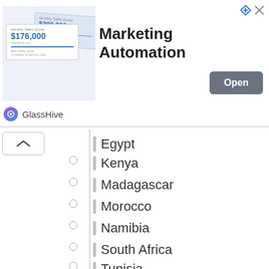[Figure (screenshot): Advertisement banner for GlassHive Marketing Automation with Open button]
Egypt
Kenya
Madagascar
Morocco
Namibia
South Africa
Tunisia
Asia
Cambodia
China
India
Indonesia
Laos
Middle East